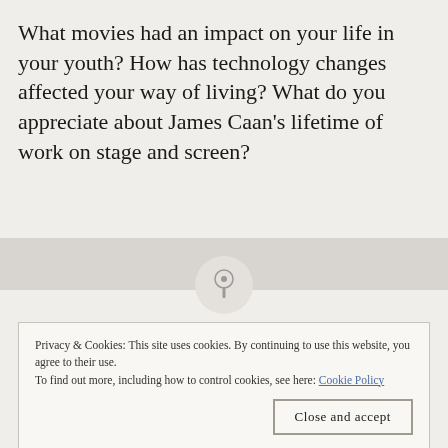What movies had an impact on your life in your youth? How has technology changes affected your way of living? What do you appreciate about James Caan's lifetime of work on stage and screen?
[Figure (illustration): A circular pin/pushpin icon centered on a gray horizontal band]
Privacy & Cookies: This site uses cookies. By continuing to use this website, you agree to their use.
To find out more, including how to control cookies, see here: Cookie Policy
Close and accept